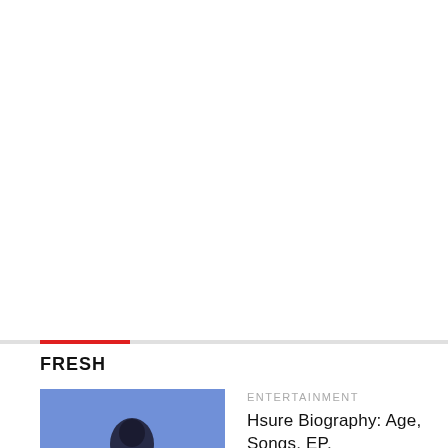FRESH
ENTERTAINMENT
[Figure (photo): Person silhouetted against blue background]
Hsure Biography: Age, Songs, EP,